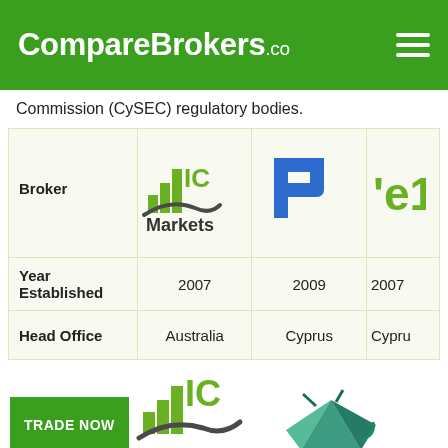CompareBrokers.co
Commission (CySEC) regulatory bodies.
| Broker | IC Markets | Primexbt (partially visible) | e1 (partially visible) |
| --- | --- | --- | --- |
| Year Established | 2007 | 2009 | 2007 |
| Head Office | Australia | Cyprus | Cypru... |
[Figure (logo): IC Markets logo - large version]
Losses can exceed deposits